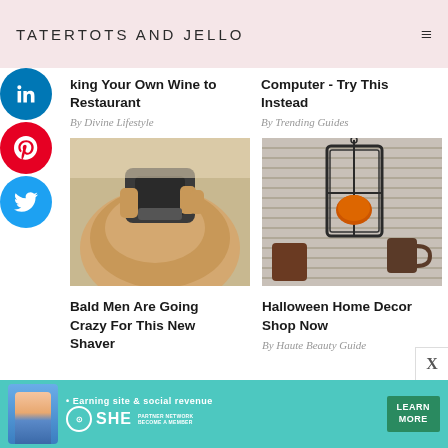TATERTOTS AND JELLO
king Your Own Wine to Restaurant
By Divine Lifestyle
Computer - Try This Instead
By Trending Guides
[Figure (photo): Person using a hair shaver on a man's head]
[Figure (photo): Halloween home decor with lantern, pumpkins, and window blinds]
Bald Men Are Going Crazy For This New Shaver
Halloween Home Decor Shop Now
By Haute Beauty Guide
[Figure (infographic): SHE Media Partner Network advertisement banner - Earning site & social revenue - LEARN MORE]